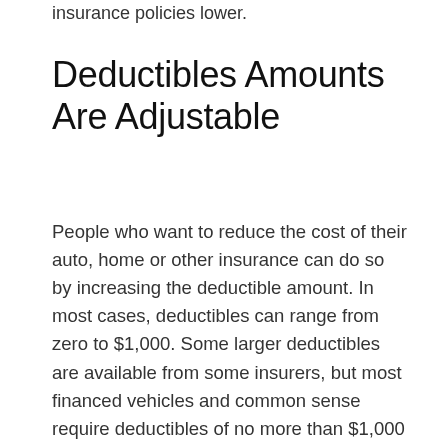insurance policies lower.
Deductibles Amounts Are Adjustable
People who want to reduce the cost of their auto, home or other insurance can do so by increasing the deductible amount. In most cases, deductibles can range from zero to $1,000. Some larger deductibles are available from some insurers, but most financed vehicles and common sense require deductibles of no more than $1,000 on autos. Most people have a deductible of $500, which is a relatively affordable amount for most working people to come up with in the event of an accident